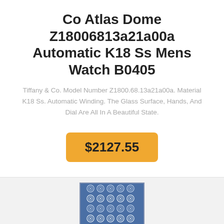Co Atlas Dome Z18006813a21a00a Automatic K18 Ss Mens Watch B0405
Tiffany & Co. Model Number Z1800.68.13a21a00a. Material K18 Ss. Automatic Winding. The Glass Surface, Hands, And Dial Are All In A Beautiful State.
$2127.55
[Figure (photo): A blue patterned rug or textile with circular geometric motifs arranged in a rectangular format, partially visible at the bottom of the page.]